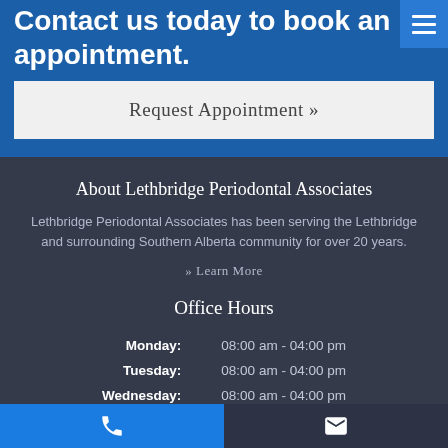Contact us today to book an appointment.
Request Appointment »
About Lethbridge Periodontal Associates
Lethbridge Periodontal Associates has been serving the Lethbridge and surrounding Southern Alberta community for over 20 years.
» Learn More
Office Hours
| Day | Hours |
| --- | --- |
| Monday: | 08:00 am - 04:00 pm |
| Tuesday: | 08:00 am - 04:00 pm |
| Wednesday: | 08:00 am - 04:00 pm |